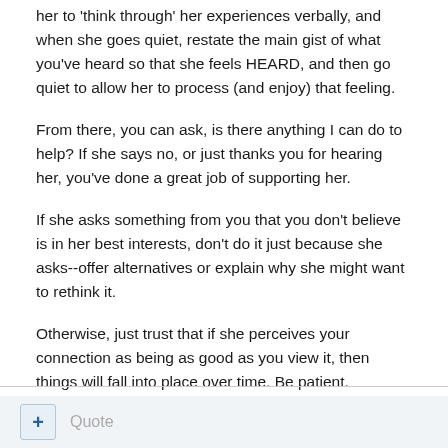her to 'think through' her experiences verbally, and when she goes quiet, restate the main gist of what you've heard so that she feels HEARD, and then go quiet to allow her to process (and enjoy) that feeling.
From there, you can ask, is there anything I can do to help? If she says no, or just thanks you for hearing her, you've done a great job of supporting her.
If she asks something from you that you don't believe is in her best interests, don't do it just because she asks--offer alternatives or explain why she might want to rethink it.
Otherwise, just trust that if she perceives your connection as being as good as you view it, then things will fall into place over time. Be patient.
Edited May 24 by catfeeder
+ Quote